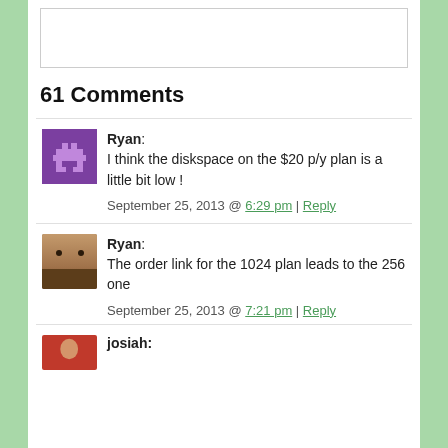61 Comments
Ryan: I think the diskspace on the $20 p/y plan is a little bit low !
September 25, 2013 @ 6:29 pm | Reply
Ryan: The order link for the 1024 plan leads to the 256 one
September 25, 2013 @ 7:21 pm | Reply
josiah: